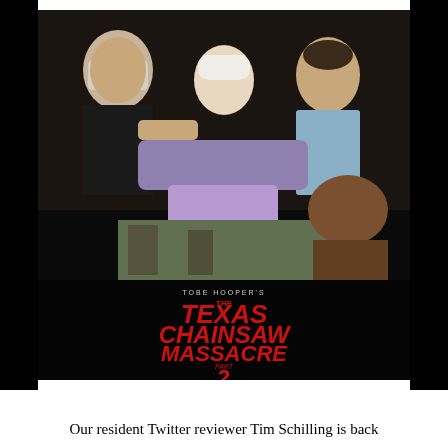[Figure (photo): Movie poster for 'The Texas Chainsaw Massacre Part 2' directed by Tobe Hooper. The poster shows three characters on a dark background: an elderly man on the left, a central figure with a bandaged head wearing a purple and white outfit, and a man in a light blue shirt on the right. The title 'THE TEXAS CHAINSAW MASSACRE PART 2' is displayed in large red letters on the lower portion of the poster. At the bottom, production credits are shown including 'THE CANNON GROUP INC.' and 'CANNON' logo.]
Our resident Twitter reviewer Tim Schilling is back